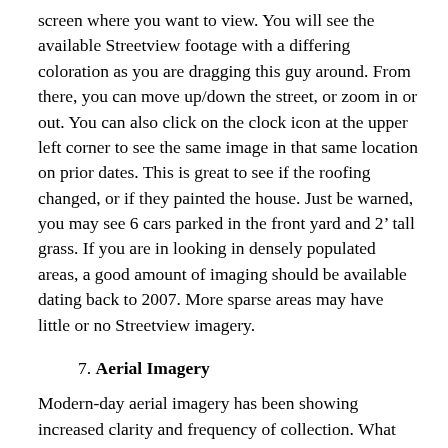screen where you want to view.  You will see the available Streetview footage with a differing coloration as you are dragging this guy around.  From there, you can move up/down the street, or zoom in or out.  You can also click on the clock icon at the upper left corner to see the same image in that same location on prior dates.  This is great to see if the roofing changed, or if they painted the house.  Just be warned, you may see 6 cars parked in the front yard and 2' tall grass.  If you are in looking in densely populated areas, a good amount of imaging should be available dating back to 2007.  More sparse areas may have little or no Streetview imagery.
7. Aerial Imagery
Modern-day aerial imagery has been showing increased clarity and frequency of collection.  What this means is that there is a fighting chance that you can see (within a few years or so) that building addition…